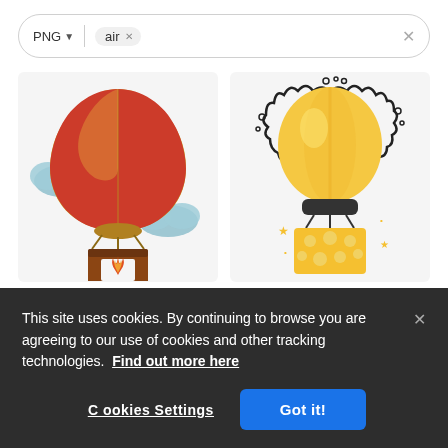[Figure (screenshot): Search bar with PNG dropdown filter and 'air' chip tag, with X close button]
[Figure (illustration): Hot air balloon illustration with red and yellow balloon, clouds, and brown basket with flame flame]
[Figure (illustration): Yellow hot air balloon with doodle cloud border, dark basket, yellow gift box basket with polka dots and stars]
[Figure (illustration): Partially visible illustration row, bottom of page]
This site uses cookies. By continuing to browse you are agreeing to our use of cookies and other tracking technologies.  Find out more here
Cookies Settings
Got it!